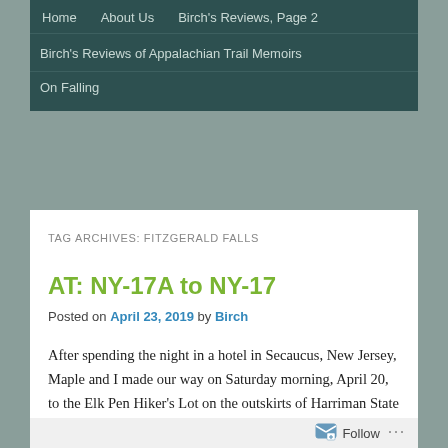Home | About Us | Birch's Reviews, Page 2 | Birch's Reviews of Appalachian Trail Memoirs | On Falling
TAG ARCHIVES: FITZGERALD FALLS
AT: NY-17A to NY-17
Posted on April 23, 2019 by Birch
After spending the night in a hotel in Secaucus, New Jersey, Maple and I made our way on Saturday morning, April 20, to the Elk Pen Hiker's Lot on the outskirts of Harriman State Park, New York. The weather report had called for torrential rains, so we put on our rain gear and waited for Josie's Shuttle. Soon, a man pulled up behind
Follow ...